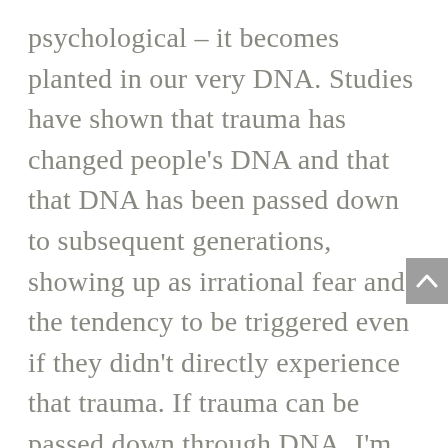psychological – it becomes planted in our very DNA. Studies have shown that trauma has changed people's DNA and that that DNA has been passed down to subsequent generations, showing up as irrational fear and the tendency to be triggered even if they didn't directly experience that trauma. If trauma can be passed down through DNA, I'm fairly certain that shame can too, since trauma and shame are often closely linked.